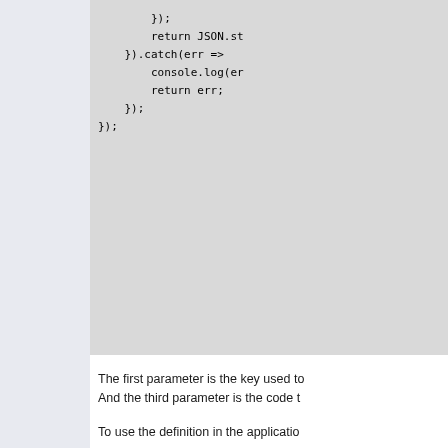});
    return JSON.st
}).catch(err =>
    console.log(er
    return err;
});
});
The first parameter is the key used to
And the third parameter is the code t
To use the definition in the applicatio
router.get('/showAll
    allDummyDocs.get(
        (error, result
            if (error) {
                res.render
            } else {
                res.render
            }
        }
    );
}